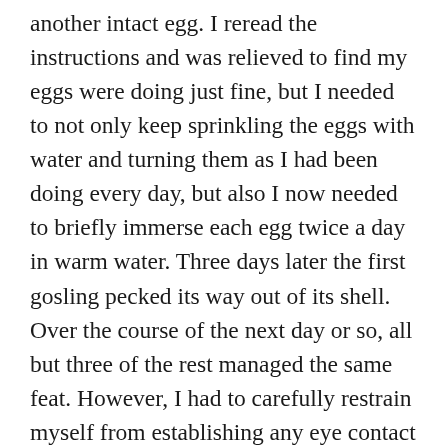another intact egg. I reread the instructions and was relieved to find my eggs were doing just fine, but I needed to not only keep sprinkling the eggs with water and turning them as I had been doing every day, but also I now needed to briefly immerse each egg twice a day in warm water. Three days later the first gosling pecked its way out of its shell. Over the course of the next day or so, all but three of the rest managed the same feat. However, I had to carefully restrain myself from establishing any eye contact with the goslings or they would imprint on me, and I would be impressed into mother goose service. I knew there was no way on Earth that I could carry out the skills of a mother goose from even the most detailed of instructions. So, each night as the goslings hatched,